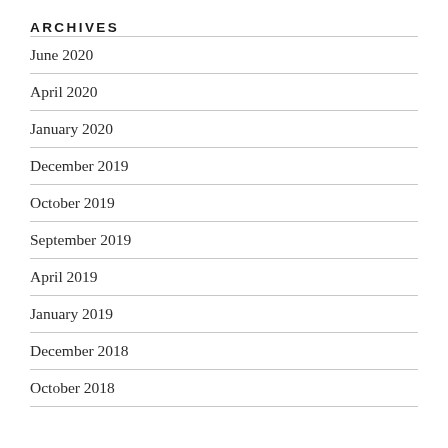ARCHIVES
June 2020
April 2020
January 2020
December 2019
October 2019
September 2019
April 2019
January 2019
December 2018
October 2018